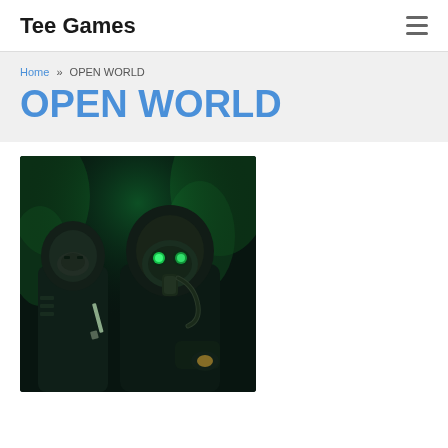Tee Games
Home » OPEN WORLD
OPEN WORLD
[Figure (illustration): Two hooded figures wearing gas masks in a dark, moody post-apocalyptic scene with green foliage in the background. The figures wear dark tactical gear; one holds a knife. The image has a dark green and black color palette.]